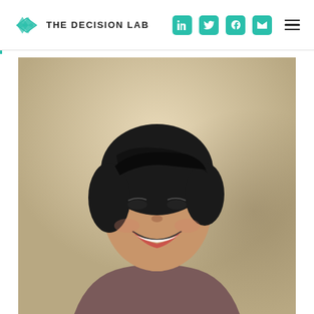THE DECISION LAB
[Figure (photo): Headshot of a smiling Asian woman with short black hair, wearing a dark brown/mauve top, photographed against a beige/cream background with soft lighting]